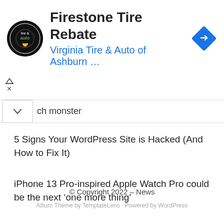[Figure (advertisement): Firestone Tire Rebate ad banner with Virginia Tire & Auto of Ashburn logo, title, subtitle link in blue, and a blue diamond navigation arrow icon on the right]
ch monster
5 Signs Your WordPress Site is Hacked (And How to Fix It)
iPhone 13 Pro-inspired Apple Watch Pro could be the next ‘one more thing’
© Copyright 2022 – News
Allium Theme by TemplateLens · Powered by WordPress